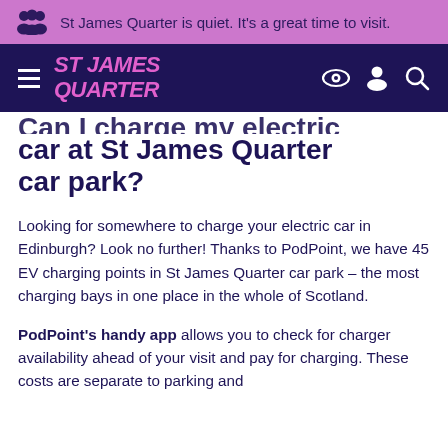St James Quarter is quiet. It's a great time to visit.
[Figure (logo): St James Quarter logo with hamburger menu, eye icon, person icon, and search icon on dark navy background]
Can I charge my electric car at St James Quarter car park?
Looking for somewhere to charge your electric car in Edinburgh? Look no further! Thanks to PodPoint, we have 45 EV charging points in St James Quarter car park – the most charging bays in one place in the whole of Scotland.
PodPoint's handy app allows you to check for charger availability ahead of your visit and pay for charging. These costs are separate to parking and